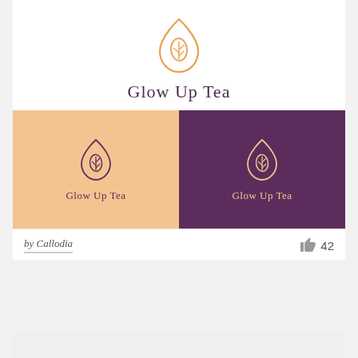[Figure (logo): Glow Up Tea logo: orange/gold teardrop shape containing a leaf/plant icon outline, with text 'Glow Up Tea' below in dark purple serif font, on white background]
[Figure (illustration): Two-panel color variation of Glow Up Tea logo: left panel peach/tan background with purple logo and text, right panel dark purple background with gold/peach logo and text]
by Callodia
42